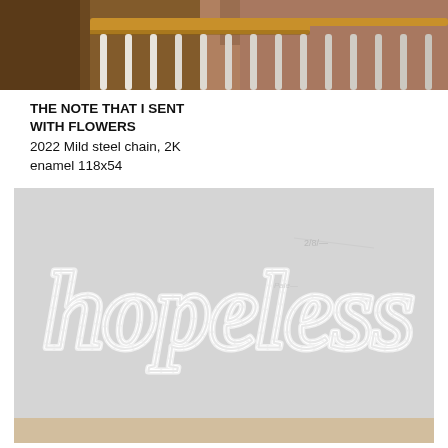[Figure (photo): Top portion of a staircase with wooden handrail and white balusters, brick wall visible in background]
THE NOTE THAT I SENT WITH FLOWERS
2022  Mild steel chain, 2K enamel 118x54
[Figure (photo): Artwork titled 'hopeless' — white mild steel chain formed into cursive script spelling 'hopeless' mounted on a light grey wall]